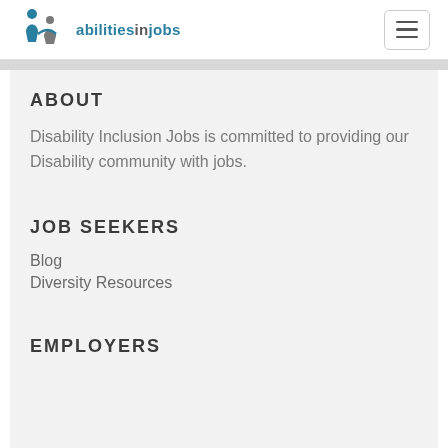abilitiesinjobs
ABOUT
Disability Inclusion Jobs is committed to providing our Disability community with jobs.
JOB SEEKERS
Blog
Diversity Resources
EMPLOYERS